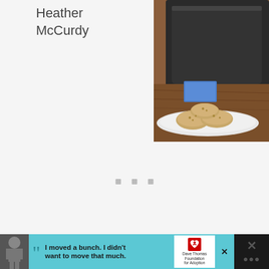Heather McCurdy
[Figure (photo): Photo of a dark pot/mug and plate of cookies/biscuits on a wooden surface]
[Figure (other): Three small grey square dots (pagination or loading indicator)]
[Figure (photo): Advertisement banner: boy with quote 'I moved a bunch. I didn't want to move that much.' with Dave Thomas Foundation for Adoption logo]
[Figure (other): Dark right panel with X icon and weather/temperature dots]